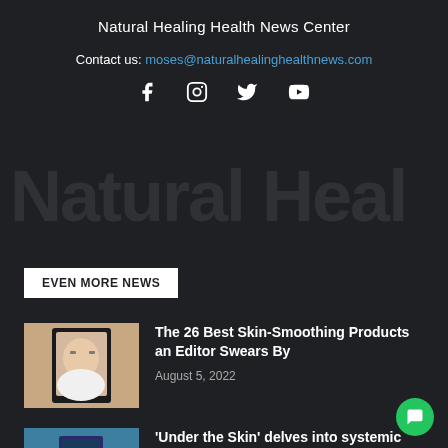Natural Healing Health News Center
Contact us: moses@naturalhealinghealthnews.com
[Figure (infographic): Social media icons: Facebook, Instagram, Twitter, YouTube]
EVEN MORE NEWS
[Figure (photo): Woman with glasses and short hair - thumbnail image for skin-smoothing article]
The 26 Best Skin-Smoothing Products an Editor Swears By
August 5, 2022
[Figure (photo): Book cover for Under the Skin on blue background]
‘Under the Skin’ delves into systemic racism and its toll on...
August 5, 2022